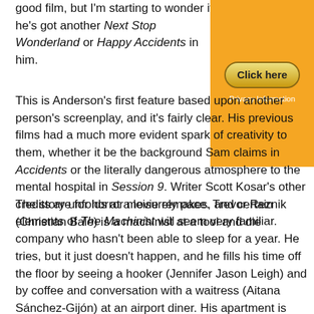good film, but I'm starting to wonder if he's got another Next Stop Wonderland or Happy Accidents in him.
[Figure (other): Orange advertisement box with a 'Click here' button and 'Privacy Information' text below it]
This is Anderson's first feature based upon another person's screenplay, and it's fairly clear. His previous films had a much more evident spark of creativity to them, whether it be the background Sam claims in Accidents or the literally dangerous atmosphere to the mental hospital in Session 9. Writer Scott Kosar's other credits are for horror movie remakes, and certain elements of The Machinist will seem very familiar.
The story unfolds at a leisurely pace. Trevor Reznik (Christian Bale) is a machinist at a tool and die company who hasn't been able to sleep for a year. He tries, but it just doesn't happen, and he fills his time off the floor by seeing a hooker (Jennifer Jason Leigh) and by coffee and conversation with a waitress (Aitana Sánchez-Gijón) at an airport diner. His apartment is sparse, devoid of any ornament, and he's wasting away - both women remark that if he were any thinner, he wouldn't exist. Soon, though, a